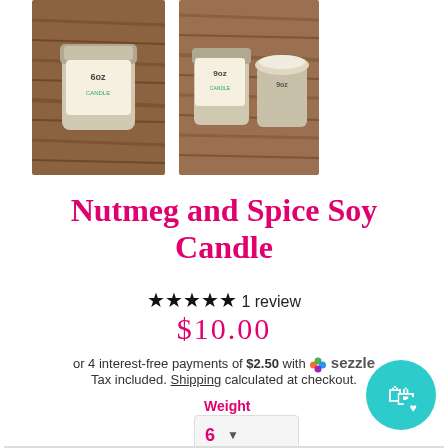[Figure (photo): Two product photos of candle jars labeled 6oz on a wooden surface]
Nutmeg and Spice Soy Candle
★★★★★ 1 review
$10.00
or 4 interest-free payments of $2.50 with Sezzle
Tax included. Shipping calculated at checkout.
Weight
6 (dropdown)
[Figure (illustration): Teal circular shopping bag with heart icon button]